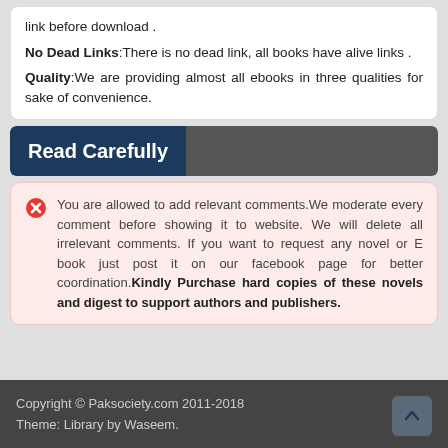link before download . No Dead Links:There is no dead link, all books have alive links . Quality:We are providing almost all ebooks in three qualities for sake of convenience.
Read Carefully
You are allowed to add relevant comments.We moderate every comment before showing it to website. We will delete all irrelevant comments. If you want to request any novel or E book just post it on our facebook page for better coordination.Kindly Purchase hard copies of these novels and digest to support authors and publishers.
Copyright © Paksociety.com 2011-2018
Theme: Library by Waseem.